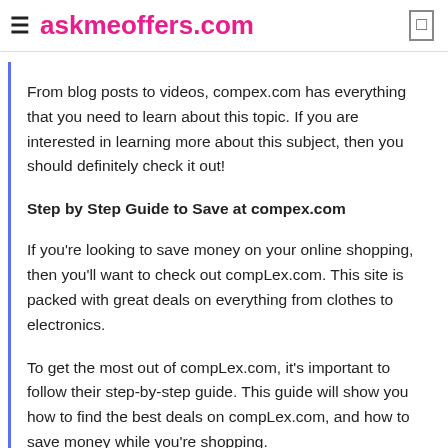askmeoffers.com
From blog posts to videos, compex.com has everything that you need to learn about this topic. If you are interested in learning more about this subject, then you should definitely check it out!
Step by Step Guide to Save at compex.com
If you're looking to save money on your online shopping, then you'll want to check out compLex.com. This site is packed with great deals on everything from clothes to electronics.
To get the most out of compLex.com, it's important to follow their step-by-step guide. This guide will show you how to find the best deals on compLex.com, and how to save money while you're shopping.
So don't miss out – download the step-by-step guide today